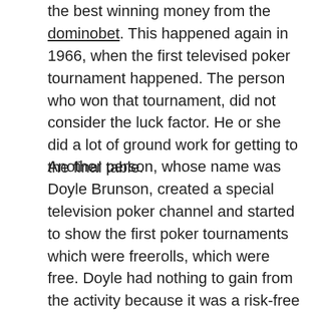the best winning money from the dominobet. This happened again in 1966, when the first televised poker tournament happened. The person who won that tournament, did not consider the luck factor. He or she did a lot of ground work for getting to the final table.
Another person, whose name was Doyle Brunson, created a special television poker channel and started to show the first poker tournaments which were freerolls, which were free. Doyle had nothing to gain from the activity because it was a risk-free poker tournament. The tournaments were used to teach people the skills of the game.
Poker tournaments became more and more popular and they were shown extensively on